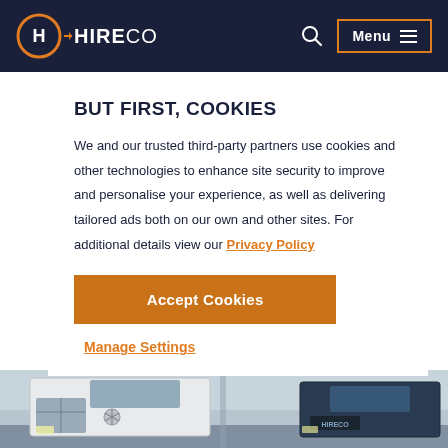HIRECO — Menu (navigation bar)
BUT FIRST, COOKIES
We and our trusted third-party partners use cookies and other technologies to enhance site security to improve and personalise your experience, as well as delivering tailored ads both on our own and other sites. For additional details view our Privacy Policy
Accept Cookies
Manage Settings
[Figure (photo): Bottom strip showing front view of white Mercedes-Benz trucks/lorries against a light sky background]